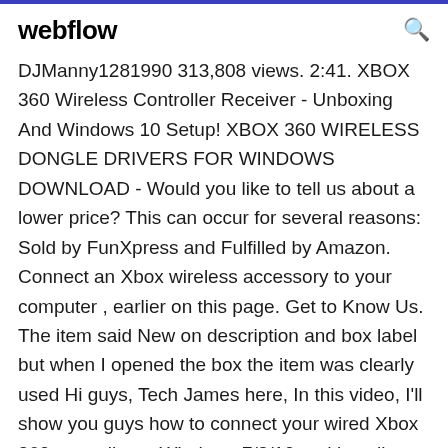webflow
DJManny1281990 313,808 views. 2:41. XBOX 360 Wireless Controller Receiver - Unboxing And Windows 10 Setup! XBOX 360 WIRELESS DONGLE DRIVERS FOR WINDOWS DOWNLOAD - Would you like to tell us about a lower price? This can occur for several reasons: Sold by FunXpress and Fulfilled by Amazon. Connect an Xbox wireless accessory to your computer , earlier on this page. Get to Know Us. The item said New on description and box label but when I opened the box the item was clearly used Hi guys, Tech James here, In this video, I'll show you guys how to connect your wired Xbox 360 controller to Windows 7/8/10 and install drivers if you need them! If you guys don't have